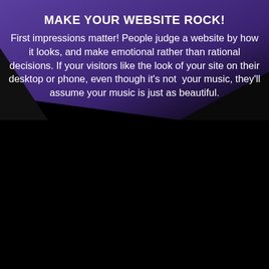MAKE YOUR WEBSITE ROCK!
First impressions matter! People judge a website by how it looks, and make emotional rather than rational decisions. If your visitors like the look of your site on their desktop or phone, even though it's not your music, they'll assume your music is just as beautiful.